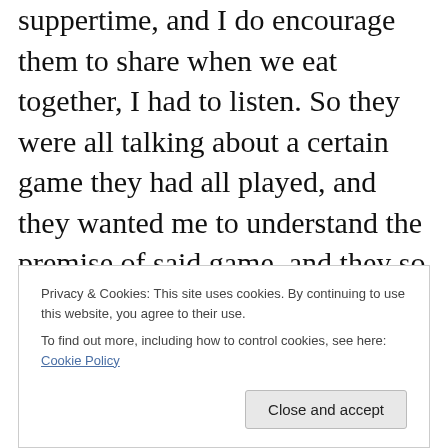suppertime, and I do encourage them to share when we eat together, I had to listen. So they were all talking about a certain game they had all played, and they wanted me to understand the premise of said game, and they so kindly told me all the little hidden tricks to use. It took major effort to stop my eyes from being obviously glazed over. I have NO interest whatsoever in Ben10 or whatever. I guess for me this conversation was as uncomfortable as it would have been for my boys
Privacy & Cookies: This site uses cookies. By continuing to use this website, you agree to their use. To find out more, including how to control cookies, see here: Cookie Policy
Close and accept